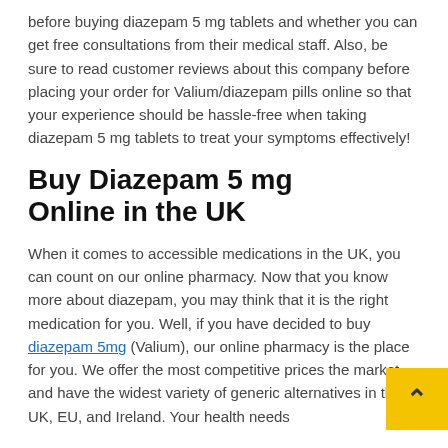before buying diazepam 5 mg tablets and whether you can get free consultations from their medical staff. Also, be sure to read customer reviews about this company before placing your order for Valium/diazepam pills online so that your experience should be hassle-free when taking diazepam 5 mg tablets to treat your symptoms effectively!
Buy Diazepam 5 mg Online in the UK
When it comes to accessible medications in the UK, you can count on our online pharmacy. Now that you know more about diazepam, you may think that it is the right medication for you. Well, if you have decided to buy diazepam 5mg (Valium), our online pharmacy is the place for you. We offer the most competitive prices the market and have the widest variety of generic alternatives in the UK, EU, and Ireland. Your health needs